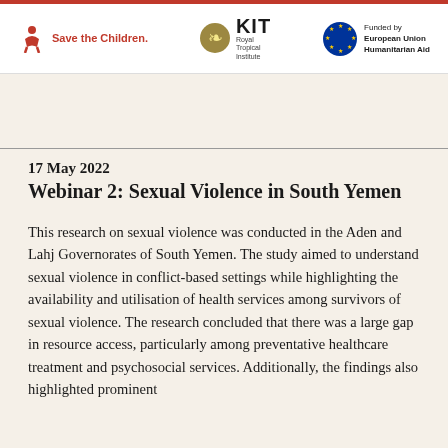[Figure (logo): Save the Children logo with red child icon and red text]
[Figure (logo): KIT Royal Tropical Institute logo with tree emblem]
[Figure (logo): European Union flag logo with text Funded by European Union Humanitarian Aid]
17 May 2022
Webinar 2: Sexual Violence in South Yemen
This research on sexual violence was conducted in the Aden and Lahj Governorates of South Yemen. The study aimed to understand sexual violence in conflict-based settings while highlighting the availability and utilisation of health services among survivors of sexual violence. The research concluded that there was a large gap in resource access, particularly among preventative healthcare treatment and psychosocial services. Additionally, the findings also highlighted prominent